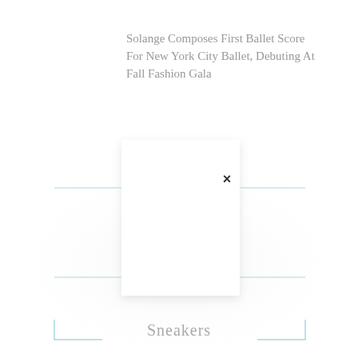Solange Composes First Ballet Score For New York City Ballet, Debuting At Fall Fashion Gala
[Figure (other): A white rectangular card/modal with a close (X) button in the upper right corner, displayed with a soft shadow over a light background. The card appears to be an overlay or popup element. Below the card are light blue bracket/corner markers suggesting a selection or crop frame. The word 'Sneakers' appears below the card in gray serif text.]